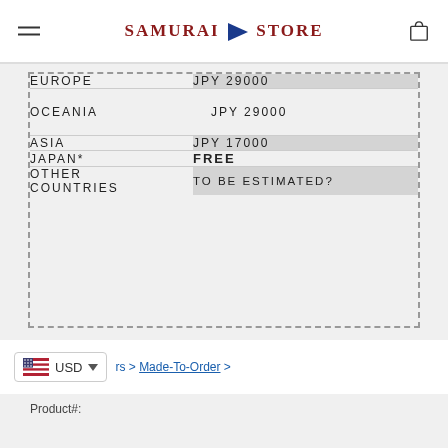Samurai Store
| Region | Shipping Cost |
| --- | --- |
| EUROPE | JPY 29000 |
| OCEANIA | JPY 29000 |
| ASIA | JPY 17000 |
| JAPAN* | FREE |
| OTHER COUNTRIES | TO BE ESTIMATED? |
USD
rs > Made-To-Order >
Product#: